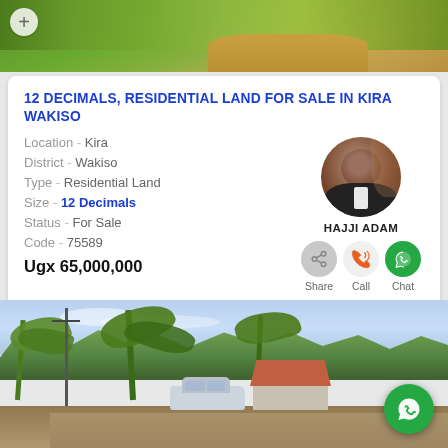[Figure (photo): Aerial or road-side view showing a dirt road with green grass and vegetation]
12 DECIMALS, RESIDENTIAL LAND FOR SALE IN KIRA WAKISO
Location - Kira
District - Wakiso
Type - Residential Land
Size - 12 Decimals
Status - For Sale
Code - 75589
Ugx 65,000,000
[Figure (photo): Agent photo - HAJJI ADAM with share/call/chat buttons below]
HAJJI ADAM
[Figure (photo): Landscape photo of land for sale in Kira Wakiso showing trees, banana plants, a car, and a small building with red roof]